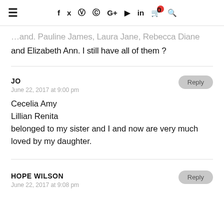≡  f  twitter  instagram  pinterest  G+  youtube  in  cart(0)  search
…and. Pauline James, Laura Jane, Rebecca Diane and Elizabeth Ann. I still have all of them ?
JO
June 22, 2017 at 9:00 pm

Cecelia Amy
Lillian Renita
belonged to my sister and I and now are very much loved by my daughter.
HOPE WILSON
June 22, 2017 at 9:08 pm